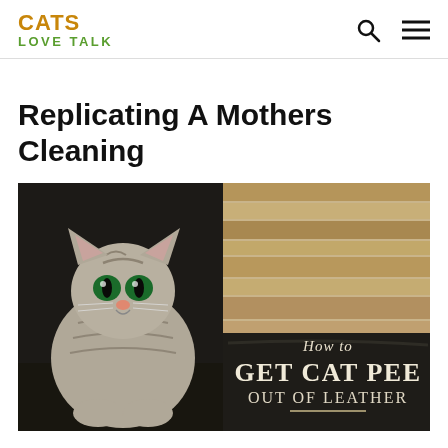CATS LOVE TALK
Replicating A Mothers Cleaning
[Figure (photo): A tabby cat with green eyes sitting on a dark leather sofa, with overlaid text reading 'How to GET CAT PEE OUT OF LEATHER']